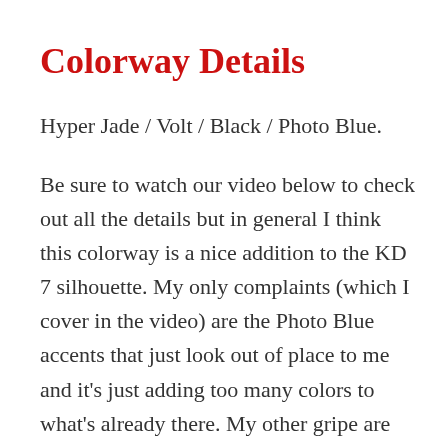Colorway Details
Hyper Jade / Volt / Black / Photo Blue.
Be sure to watch our video below to check out all the details but in general I think this colorway is a nice addition to the KD 7 silhouette. My only complaints (which I cover in the video) are the Photo Blue accents that just look out of place to me and it’s just adding too many colors to what’s already there. My other gripe are those darn laces – they are just a little too thin for my liking? But then again that still hasn’t stopped me from purchasing a few different colorways